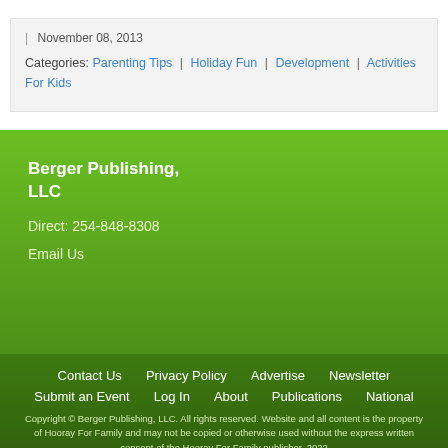| November 08, 2013
Categories: Parenting Tips | Holiday Fun | Development | Activities For Kids
Berger Publishing, LLC
Direct: 254-848-8308
Email Us
Contact Us | Privacy Policy | Advertise | Newsletter | Submit an Event | Log In | About | Publications | National
Copyright © Berger Publishing, LLC. All rights reserved. Website and all content is the property of Hooray For Family and may not be copied or otherwise used without the express written consent of the Hooray For Family publisher. 2022